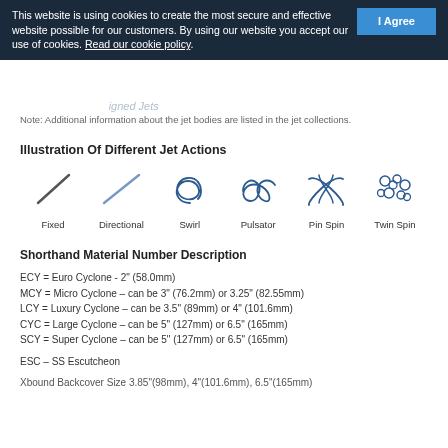This website is using cookies to create the most secure and effective website possible for our customers. By using our website you accept our use of cookies. Read our cookie policy.
Note: Additional information about the jet bodies are listed in the jet collections.
Illustration Of Different Jet Actions
[Figure (illustration): Six jet action type illustrations: Fixed (single diagonal line), Directional (single diagonal line, lighter/blue), Swirl (spiral coil), Pulsator (looping figure-eight), Pin Spin (crossed loops), Twin Spin (cluster of small loops)]
Shorthand Material Number Description
ECY = Euro Cyclone - 2" (58.0mm)
MCY = Micro Cyclone – can be 3" (76.2mm) or 3.25" (82.55mm)
LCY = Luxury Cyclone – can be 3.5" (89mm) or 4" (101.6mm)
CYC = Large Cyclone – can be 5" (127mm) or 6.5" (165mm)
SCY = Super Cyclone – can be 5" (127mm) or 6.5" (165mm)
ESC – SS Escutcheon
Xbound Backcover Size 3.85"(98mm), 4"(101.6mm), 6.5"(165mm)